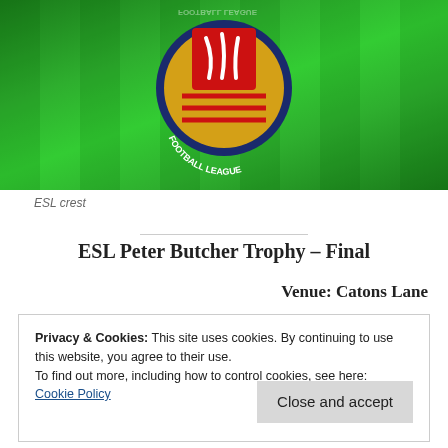[Figure (logo): ESL Football League crest on green grass background. Circular badge with navy border, gold background, red shield with three white seaxes, red and yellow horizontal stripes below, text 'FOOTBALL LEAGUE' on navy band.]
ESL crest
ESL Peter Butcher Trophy – Final
Venue: Catons Lane
Privacy & Cookies: This site uses cookies. By continuing to use this website, you agree to their use.
To find out more, including how to control cookies, see here:
Cookie Policy